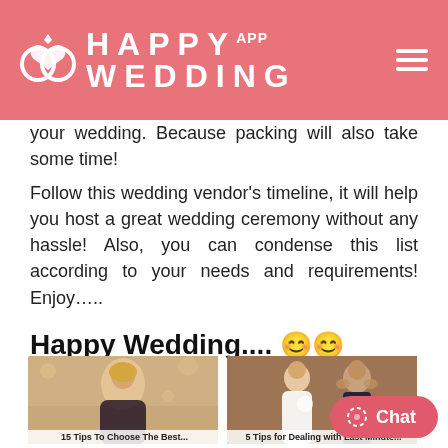Happy Wedding App
your wedding. Because packing will also take some time!
Follow this wedding vendor's timeline, it will help you host a great wedding ceremony without any hassle! Also, you can condense this list according to your needs and requirements! Enjoy…..
Happy Wedding.... 😊😊
Related Posts
[Figure (photo): Young woman with blonde hair looking down, at a wedding reception setting]
15 Tips To Choose The Best...
[Figure (photo): Bride in white dress with man in dark suit, appearing stressed at a reception]
5 Tips for Dealing with Last Minute...